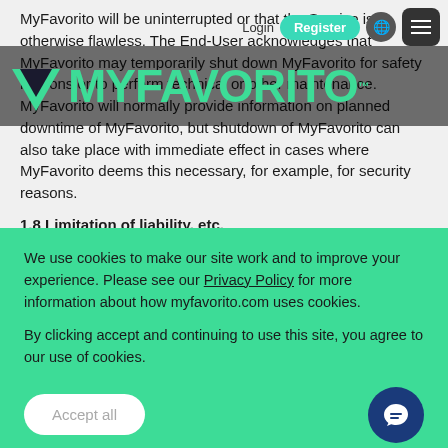MyFavorito will be uninterrupted or that the Service is otherwise flawless. The End-User acknowledges that MyFavorito may temporarily shut down MyFavorito for safety reasons or to perform technical or other maintenance. MyFavorito will normally provide information on planned downtime of MyFavorito, but shutdown of MyFavorito can also take place with immediate effect in cases where MyFavorito deems this necessary, for example, for security reasons.
1.8 Limitation of liability, etc.
1.8.1 MyFavorito shall not be liable for direct, indirect or other damage of persons or property or loss which the End-User or a third party may incur because of MyFavorito, use of or faults, such
We use cookies to make our site work and to improve your experience. Please see our Privacy Policy for more information about how myfavorito.com uses cookies.
By clicking accept and continuing to use this site, you agree to our use of cookies.